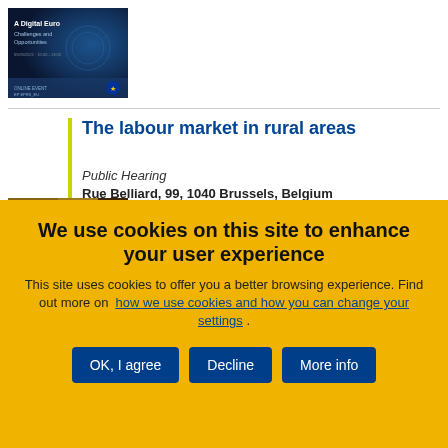[Figure (screenshot): Thumbnail image of a document cover titled 'A Digital Euro: Challenges and Opportunities' with European Union branding on a dark blue background]
The labour market in rural areas
Public Hearing
Rue Belliard, 99, 1040 Brussels, Belgium
15/09/2022
[Figure (photo): Partial photo showing hands, likely agricultural context relating to rural labour market]
We use cookies on this site to enhance your user experience
This site uses cookies to offer you a better browsing experience. Find out more on how we use cookies and how you can change your settings .
OK, I agree
Decline
More info